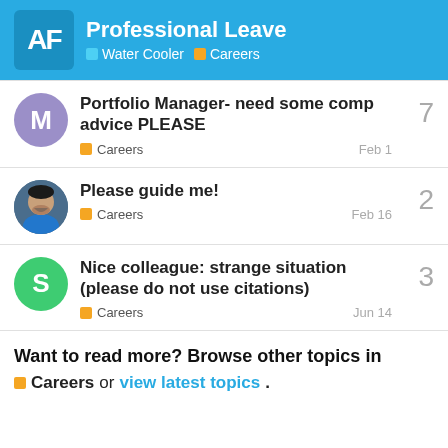Professional Leave — Water Cooler | Careers
Portfolio Manager- need some comp advice PLEASE — Careers — Feb 1 — 7 replies
Please guide me! — Careers — Feb 16 — 2 replies
Nice colleague: strange situation (please do not use citations) — Careers — Jun 14 — 3 replies
Want to read more? Browse other topics in Careers or view latest topics.